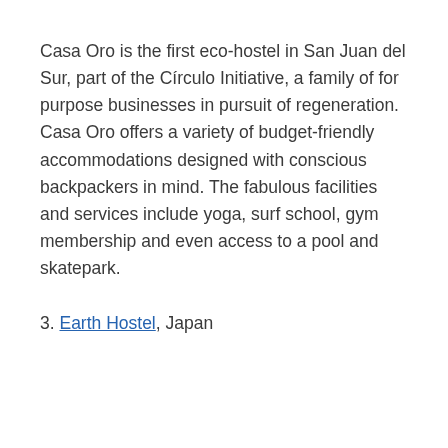Casa Oro is the first eco-hostel in San Juan del Sur, part of the Círculo Initiative, a family of for purpose businesses in pursuit of regeneration.  Casa Oro offers a variety of budget-friendly accommodations designed with conscious backpackers in mind. The fabulous facilities and services include yoga, surf school, gym membership and even access to a pool and skatepark.
3. Earth Hostel, Japan